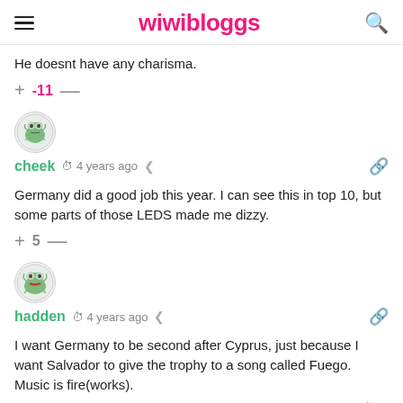wiwibloggs
He doesnt have any charisma.
+ -11 —
[Figure (illustration): Avatar icon of a cartoon green frog/alien character in a circle]
cheek  4 years ago
Germany did a good job this year. I can see this in top 10, but some parts of those LEDS made me dizzy.
+ 5 —
[Figure (illustration): Avatar icon of a cartoon green frog character with red mouth in a circle]
hadden  4 years ago
I want Germany to be second after Cyprus, just because I want Salvador to give the trophy to a song called Fuego. Music is fire(works).
+ -3 —